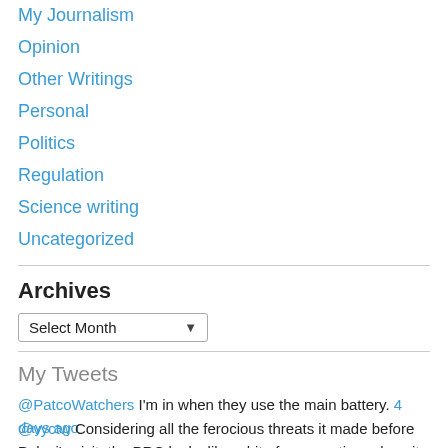My Journalism
Opinion
Other Writings
Personal
Politics
Regulation
Science writing
Uncategorized
Archives
Select Month
My Tweets
@PatcoWatchers I'm in when they use the main battery. 4 days ago
@vyctw Considering all the ferocious threats it made before Pelosi's visit, the PRC looks like a bit of a paper tiger, does it not? 4 weeks ago